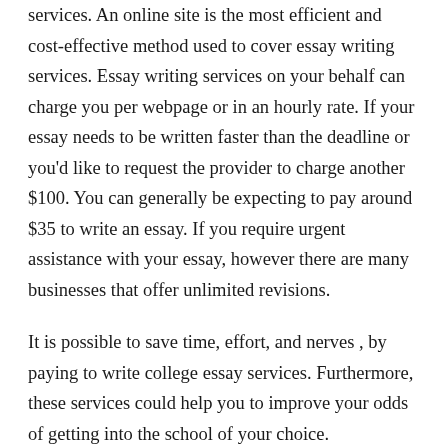services. An online site is the most efficient and cost-effective method used to cover essay writing services. Essay writing services on your behalf can charge you per webpage or in an hourly rate. If your essay needs to be written faster than the deadline or you'd like to request the provider to charge another $100. You can generally be expecting to pay around $35 to write an essay. If you require urgent assistance with your essay, however there are many businesses that offer unlimited revisions.
It is possible to save time, effort, and nerves , by paying to write college essay services. Furthermore, these services could help you to improve your odds of getting into the school of your choice. Additionally, they are able to ensure the success of your application, making it worthwhile to pay for. You can pay for student essays even if you do not